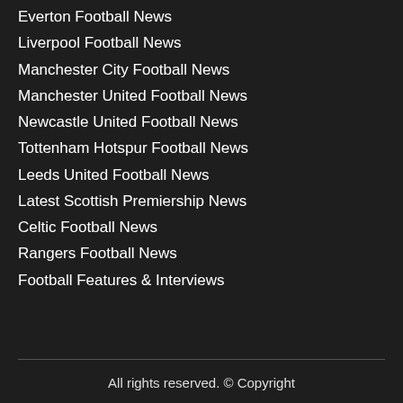Everton Football News
Liverpool Football News
Manchester City Football News
Manchester United Football News
Newcastle United Football News
Tottenham Hotspur Football News
Leeds United Football News
Latest Scottish Premiership News
Celtic Football News
Rangers Football News
Football Features & Interviews
All rights reserved. © Copyright